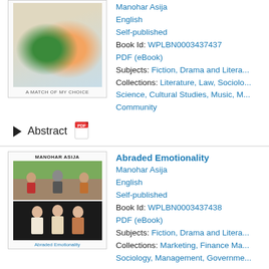[Figure (photo): Book cover for 'A Match of My Choice' showing a couple smiling]
Manohar Asija
English
Self-published
Book Id: WPLBN0003437437
PDF (eBook)
Subjects: Fiction, Drama and Litera...
Collections: Literature, Law, Sociolo... Science, Cultural Studies, Music, M... Community
Abstract
[Figure (photo): Book cover for 'Abraded Emotionality' showing group photos]
Abraded Emotionality
Manohar Asija
English
Self-published
Book Id: WPLBN0003437438
PDF (eBook)
Subjects: Fiction, Drama and Litera...
Collections: Marketing, Finance Ma... Sociology, Management, Governme...